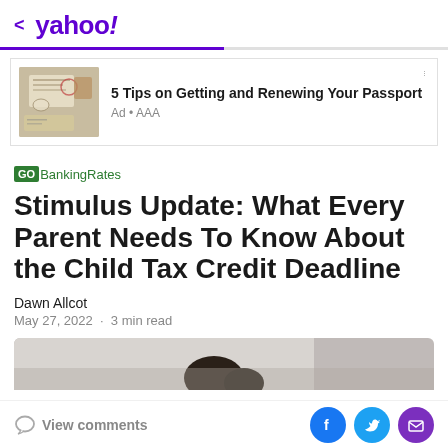< yahoo!
[Figure (photo): Passport pages with stamps, used as ad thumbnail image]
5 Tips on Getting and Renewing Your Passport
Ad • AAA
GO BankingRates
Stimulus Update: What Every Parent Needs To Know About the Child Tax Credit Deadline
Dawn Allcot
May 27, 2022  ·  3 min read
[Figure (photo): Partial photo of a child/person, article header image]
View comments